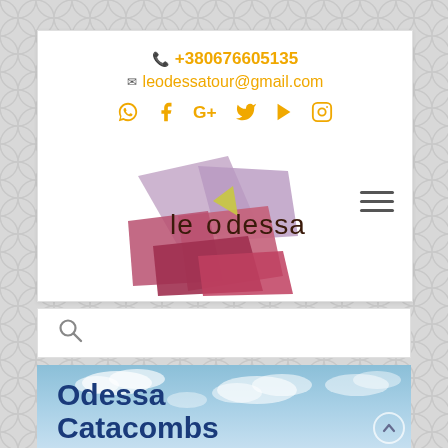+380676605135 | leodessatour@gmail.com
[Figure (logo): LeOdessa tour company logo - geometric folded paper shapes in pink, mauve and red colors with text 'le o dessa' in brown/dark lettering]
[Figure (illustration): Search icon (magnifying glass)]
[Figure (photo): Sky with clouds - blue sky background with white clouds, hero image for Odessa Catacombs tour page]
Odessa Catacombs